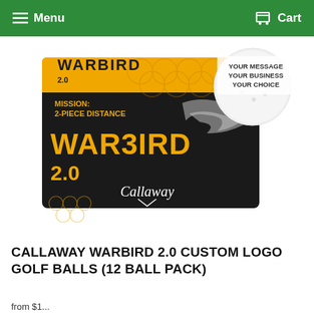Menu  Cart
[Figure (photo): Callaway Warbird 2.0 custom logo golf balls box — black and yellow/gold box with WARBIRD 2.0 branding, eagle logo, Callaway script logo, honeycomb pattern, and a white golf ball with text 'YOUR MESSAGE YOUR BUSINESS YOUR CHOICE']
CALLAWAY WARBIRD 2.0 CUSTOM LOGO GOLF BALLS (12 BALL PACK)